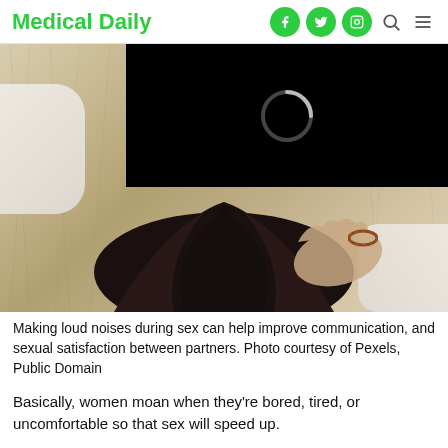Medical Daily
[Figure (photo): Woman with dark hair lying on a fluffy white/cream surface, wearing white top and bracelet. Upper portion partially covered by a black video-loading overlay with a spinner icon.]
Making loud noises during sex can help improve communication, and sexual satisfaction between partners. Photo courtesy of Pexels, Public Domain
Basically, women moan when they're bored, tired, or uncomfortable so that sex will speed up.